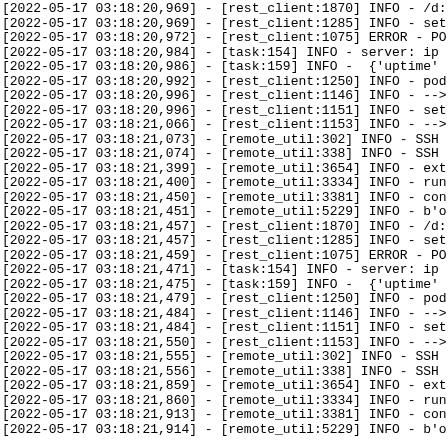[2022-05-17 03:18:20,969] - [rest_client:1870] INFO - /d...
[2022-05-17 03:18:20,969] - [rest_client:1285] INFO - set
[2022-05-17 03:18:20,972] - [rest_client:1075] ERROR - PO
[2022-05-17 03:18:20,984] - [task:154] INFO - server: ip
[2022-05-17 03:18:20,986] - [task:159] INFO -  {'uptime'
[2022-05-17 03:18:20,992] - [rest_client:1250] INFO - pod
[2022-05-17 03:18:20,996] - [rest_client:1146] INFO - -->
[2022-05-17 03:18:20,996] - [rest_client:1151] INFO - set
[2022-05-17 03:18:21,066] - [rest_client:1153] INFO - -->
[2022-05-17 03:18:21,073] - [remote_util:302] INFO - SSH
[2022-05-17 03:18:21,074] - [remote_util:338] INFO - SSH
[2022-05-17 03:18:21,399] - [remote_util:3654] INFO - ext
[2022-05-17 03:18:21,400] - [remote_util:3334] INFO - run
[2022-05-17 03:18:21,450] - [remote_util:3381] INFO - con
[2022-05-17 03:18:21,451] - [remote_util:5229] INFO - b'o
[2022-05-17 03:18:21,457] - [rest_client:1870] INFO - /d:
[2022-05-17 03:18:21,457] - [rest_client:1285] INFO - set
[2022-05-17 03:18:21,459] - [rest_client:1075] ERROR - PO
[2022-05-17 03:18:21,471] - [task:154] INFO - server: ip
[2022-05-17 03:18:21,475] - [task:159] INFO -  {'uptime'
[2022-05-17 03:18:21,479] - [rest_client:1250] INFO - pod
[2022-05-17 03:18:21,484] - [rest_client:1146] INFO - -->
[2022-05-17 03:18:21,484] - [rest_client:1151] INFO - set
[2022-05-17 03:18:21,550] - [rest_client:1153] INFO - -->
[2022-05-17 03:18:21,555] - [remote_util:302] INFO - SSH
[2022-05-17 03:18:21,556] - [remote_util:338] INFO - SSH
[2022-05-17 03:18:21,859] - [remote_util:3654] INFO - ext
[2022-05-17 03:18:21,860] - [remote_util:3334] INFO - run
[2022-05-17 03:18:21,913] - [remote_util:3381] INFO - con
[2022-05-17 03:18:21,914] - [remote_util:5229] INFO - b'o